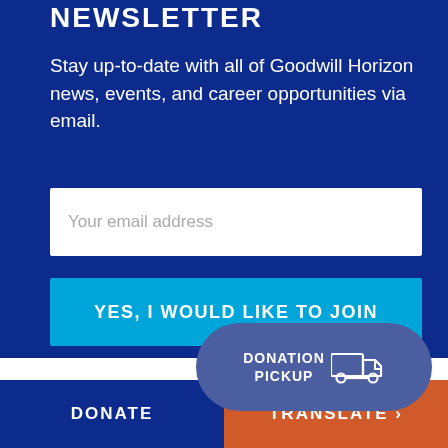NEWSLETTER
Stay up-to-date with all of Goodwill Horizon news, events, and career opportunities via email.
Your email address
YES, I WOULD LIKE TO JOIN
[Figure (infographic): DONATION PICKUP button with truck icon, rounded pill shape in slate blue]
DONATE
TRANSLATE >